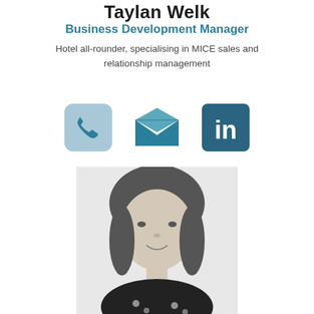Taylan Welk
Business Development Manager
Hotel all-rounder, specialising in MICE sales and relationship management
[Figure (infographic): Three contact icons: phone (light teal rounded square), email (open envelope with teal body), LinkedIn (dark teal square with 'in' logo)]
[Figure (photo): Black and white headshot photo of a woman with straight shoulder-length hair and fringe, smiling, wearing a dark floral top]